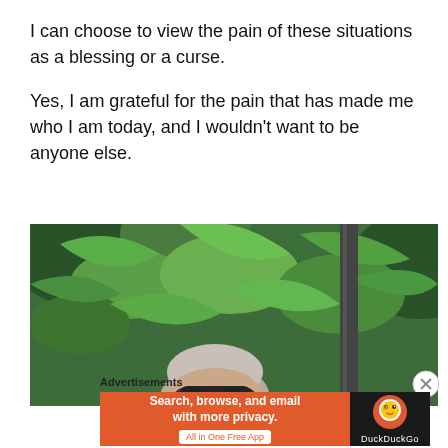I can choose to view the pain of these situations as a blessing or a curse.

Yes, I am grateful for the pain that has made me who I am today, and I wouldn't want to be anyone else.
[Figure (photo): Outdoor photo of a person with gray hair and sunglasses, partially visible behind lush green tropical foliage and a dark pole/post]
Advertisements
[Figure (infographic): DuckDuckGo advertisement banner with orange background reading 'Search, browse, and email with more privacy. All in One Free App' next to DuckDuckGo logo on dark background]